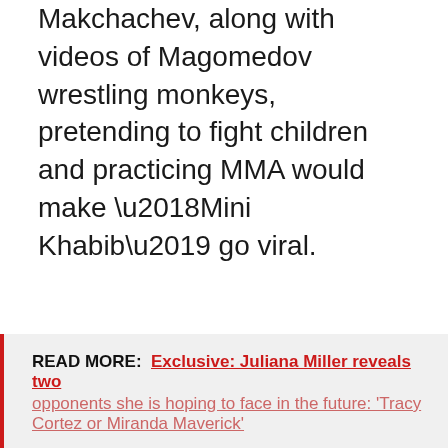Makchachev, along with videos of Magomedov wrestling monkeys, pretending to fight children and practicing MMA would make ‘Mini Khabib’ go viral.
READ MORE: Exclusive: Juliana Miller reveals two opponents she is hoping to face in the future: ‘Tracy Cortez or Miranda Maverick’